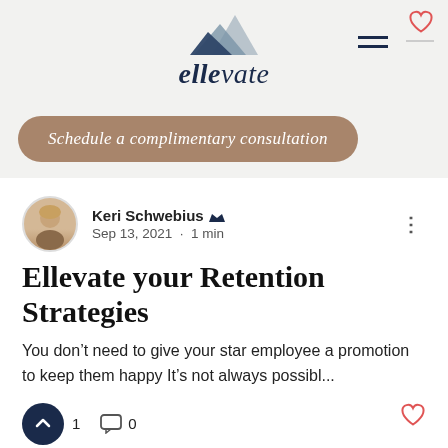ellevate — Schedule a complimentary consultation
Keri Schwebius · Sep 13, 2021 · 1 min
Ellevate your Retention Strategies
You don't need to give your star employee a promotion to keep them happy It's not always possibl...
1   0